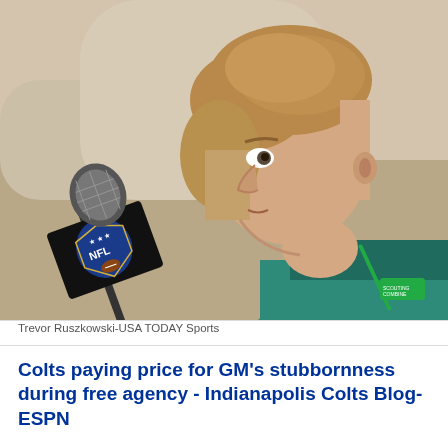[Figure (photo): A man in a teal/green shirt with a green SCOUTING COMBINE lanyard speaking at an NFL microphone, photographed in profile from the right side. Background is blurred beige/tan.]
Trevor Ruszkowski-USA TODAY Sports
Colts paying price for GM's stubbornness during free agency - Indianapolis Colts Blog- ESPN
Colts paying price for GM's stubbornness during free agency